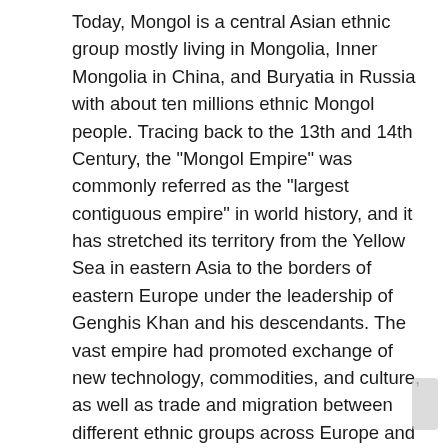Today, Mongol is a central Asian ethnic group mostly living in Mongolia, Inner Mongolia in China, and Buryatia in Russia with about ten millions ethnic Mongol people. Tracing back to the 13th and 14th Century, the "Mongol Empire" was commonly referred as the "largest contiguous empire" in world history, and it has stretched its territory from the Yellow Sea in eastern Asia to the borders of eastern Europe under the leadership of Genghis Khan and his descendants. The vast empire had promoted exchange of new technology, commodities, and culture, as well as trade and migration between different ethnic groups across Europe and Asia. The migration of Mongols in Eurasia Region including China, Middle East, and Russia during the period of the Mongol Empire has always been debated by scientists. The study of Monlogian genome will provide new insights on the Mongols' potential impact on the human evolution at the genetic level. In this study, the DNA sample was